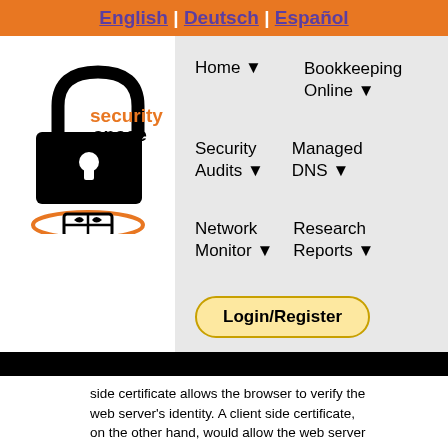English | Deutsch | Español
[Figure (logo): Security Space logo with padlock icon and orange 'security' text]
Home ▼
Bookkeeping Online ▼
Security Audits ▼
Managed DNS ▼
Network Monitor ▼
Research Reports ▼
Login/Register
side certificate allows the browser to verify the web server's identity. A client side certificate, on the other hand, would allow the web server to verify the identify of the user of the browser.  The terminology is usually applied in circumstances where a server side certificate is already being used.